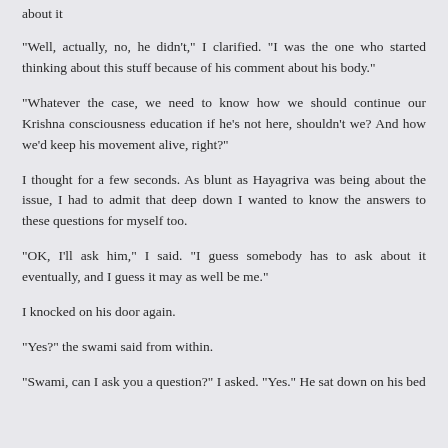about it
“Well, actually, no, he didn’t,” I clarified. “I was the one who started thinking about this stuff because of his comment about his body.”
“Whatever the case, we need to know how we should continue our Krishna consciousness education if he’s not here, shouldn’t we? And how we’d keep his movement alive, right?”
I thought for a few seconds. As blunt as Hayagriva was being about the issue, I had to admit that deep down I wanted to know the answers to these questions for myself too.
“OK, I’ll ask him,” I said. “I guess somebody has to ask about it eventually, and I guess it may as well be me.”
I knocked on his door again.
“Yes?” the swami said from within.
“Swami, can I ask you a question?” I asked. “Yes.” He sat down on his bed